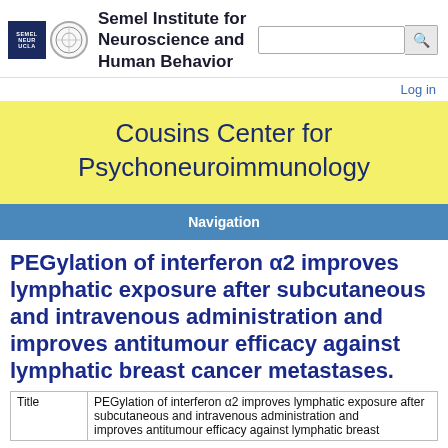Semel Institute for Neuroscience and Human Behavior
Cousins Center for Psychoneuroimmunology
Navigation
PEGylation of interferon α2 improves lymphatic exposure after subcutaneous and intravenous administration and improves antitumour efficacy against lymphatic breast cancer metastases.
| Title |  |
| --- | --- |
| Title | PEGylation of interferon α2 improves lymphatic exposure after subcutaneous and intravenous administration and |